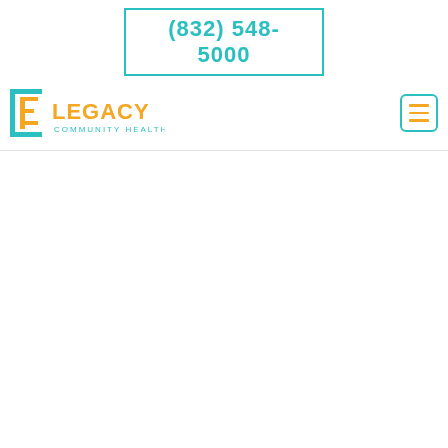(832) 548-5000
[Figure (logo): Legacy Community Health logo with teal square bracket icon and orange/teal text]
[Figure (other): Hamburger menu button with teal border and orange lines]